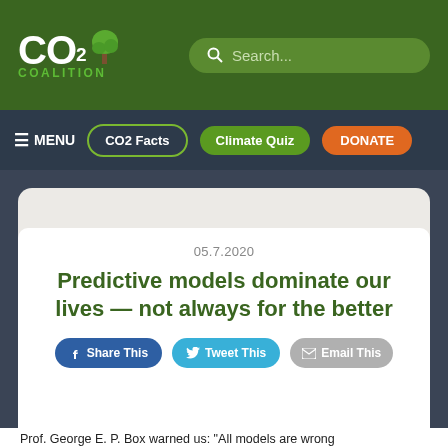CO2 COALITION — Search...
≡ MENU  CO2 Facts  Climate Quiz  DONATE
05.7.2020
Predictive models dominate our lives — not always for the better
Share This  Tweet This  Email This
Prof. George E. P. Box warned us: "All models are wrong